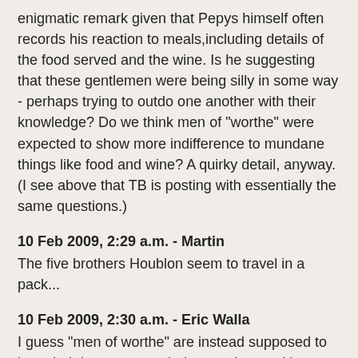enigmatic remark given that Pepys himself often records his reaction to meals,including details of the food served and the wine. Is he suggesting that these gentlemen were being silly in some way - perhaps trying to outdo one another with their knowledge? Do we think men of "worthe" were expected to show more indifference to mundane things like food and wine? A quirky detail, anyway. (I see above that TB is posting with essentially the same questions.)
10 Feb 2009, 2:29 a.m. - Martin
The five brothers Houblon seem to travel in a pack...
10 Feb 2009, 2:30 a.m. - Eric Walla
I guess "men of worthe" are instead supposed to bust their buttons over their new plate and how nobly it does set off their cupboard.
10 Feb 2009, 6:44 a.m. - Mary K
curiosity and joy. It sounds as if Norwood, Robinson and co.